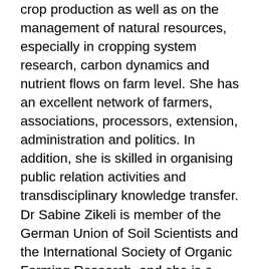crop production as well as on the management of natural resources, especially in cropping system research, carbon dynamics and nutrient flows on farm level. She has an excellent network of farmers, associations, processors, extension, administration and politics. In addition, she is skilled in organising public relation activities and transdisciplinary knowledge transfer. Dr Sabine Zikeli is member of the German Union of Soil Scientists and the International Society of Organic Farming Research, and she is a board member of Agroecology Europe. In addition, she holds a seat in the Monitoring Committee for Organic Farming Research of the Federal State of Baden-Württemberg and in the Monitoring Committee of the German Research Programme